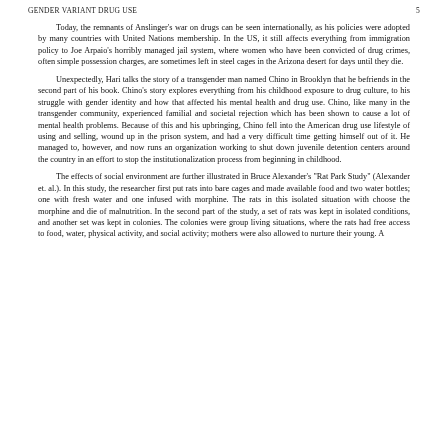GENDER VARIANT DRUG USE    5
Today, the remnants of Anslinger's war on drugs can be seen internationally, as his policies were adopted by many countries with United Nations membership. In the US, it still affects everything from immigration policy to Joe Arpaio's horribly managed jail system, where women who have been convicted of drug crimes, often simple possession charges, are sometimes left in steel cages in the Arizona desert for days until they die.
Unexpectedly, Hari talks the story of a transgender man named Chino in Brooklyn that he befriends in the second part of his book. Chino's story explores everything from his childhood exposure to drug culture, to his struggle with gender identity and how that affected his mental health and drug use. Chino, like many in the transgender community, experienced familial and societal rejection which has been shown to cause a lot of mental health problems. Because of this and his upbringing, Chino fell into the American drug use lifestyle of using and selling, wound up in the prison system, and had a very difficult time getting himself out of it. He managed to, however, and now runs an organization working to shut down juvenile detention centers around the country in an effort to stop the institutionalization process from beginning in childhood.
The effects of social environment are further illustrated in Bruce Alexander's "Rat Park Study" (Alexander et. al.). In this study, the researcher first put rats into bare cages and made available food and two water bottles; one with fresh water and one infused with morphine. The rats in this isolated situation with choose the morphine and die of malnutrition. In the second part of the study, a set of rats was kept in isolated conditions, and another set was kept in colonies. The colonies were group living situations, where the rats had free access to food, water, physical activity, and social activity; mothers were also allowed to nurture their young. A